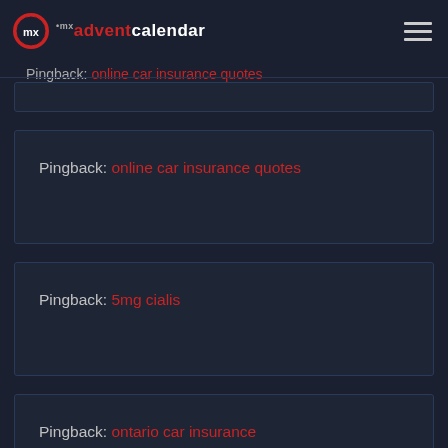mx adventcalendar
Pingback: online car insurance quotes
Pingback: 5mg cialis
Pingback: ontario car insurance
Pingback: costco car insurance quotes